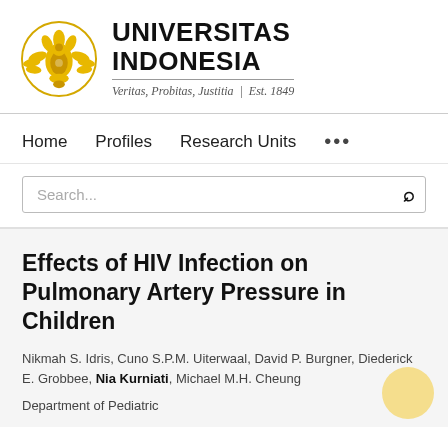[Figure (logo): Universitas Indonesia logo with golden emblem and text: UNIVERSITAS INDONESIA, Veritas, Probitas, Justitia | Est. 1849]
Home   Profiles   Research Units   ...
Search...
Effects of HIV Infection on Pulmonary Artery Pressure in Children
Nikmah S. Idris, Cuno S.P.M. Uiterwaal, David P. Burgner, Diederick E. Grobbee, Nia Kurniati, Michael M.H. Cheung
Department of Pediatric